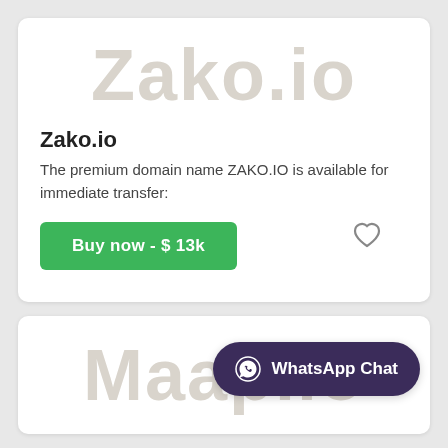[Figure (other): Large watermark text 'Zako.io' in light beige/gray color]
Zako.io
The premium domain name ZAKO.IO is available for immediate transfer:
[Figure (other): Green 'Buy now - $ 13k' button and heart/favorite icon]
[Figure (other): Large watermark text 'Maap.io' in light beige/gray color, with WhatsApp Chat button overlay]